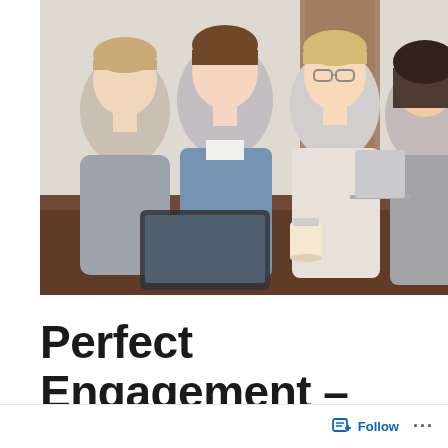[Figure (photo): Four young people sitting around a table, smiling and looking at a tablet. Two women in the center are smiling broadly; a man in gray long-sleeve shirt on the left is looking at the tablet; a woman with dark hair on the right has her back partially to the camera. Background shows a white brick wall and wooden panels. Coffee cups and a laptop are on the table.]
Perfect Engagement – More Valuable than Perfect Content
Follow ...